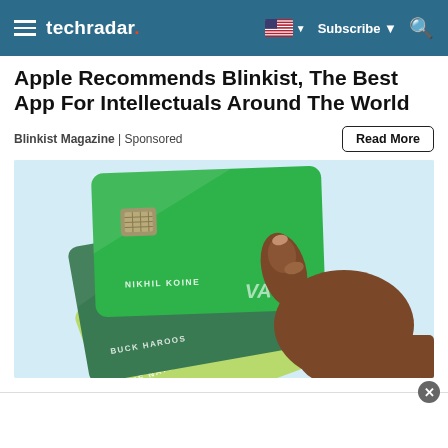techradar
Apple Recommends Blinkist, The Best App For Intellectuals Around The World
Blinkist Magazine | Sponsored
[Figure (photo): A hand holding three green credit/debit cards fanned out. The cards show names: NIKHIL KOINE, BUCK HAROOS, DEE NAYBO. Cards are various shades of green with chip and VISA branding visible.]
Read More